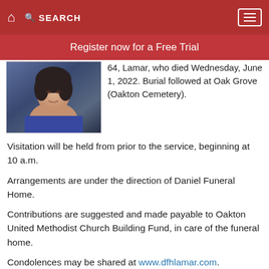SEARCH
Register now for a Free Trial
[Figure (photo): Portrait photo of a woman wearing a dark blue floral top]
64, Lamar, who died Wednesday, June 1, 2022. Burial followed at Oak Grove (Oakton Cemetery).
Visitation will be held from prior to the service, beginning at 10 a.m.
Arrangements are under the direction of Daniel Funeral Home.
Contributions are suggested and made payable to Oakton United Methodist Church Building Fund, in care of the funeral home.
Condolences may be shared at www.dfhlamar.com.
Survivors include two sons, Robert Compton and